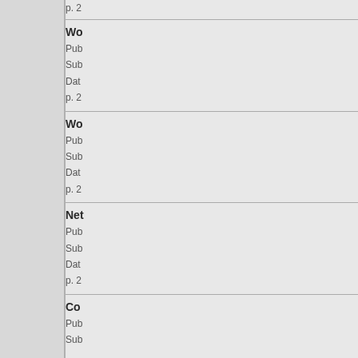p. 2
Wo...
Pub...
Sub...
Dat...
p. 2
Wo...
Pub...
Sub...
Dat...
p. 2
Net...
Pub...
Sub...
Dat...
p. 2
Co...
Pub...
Sub...